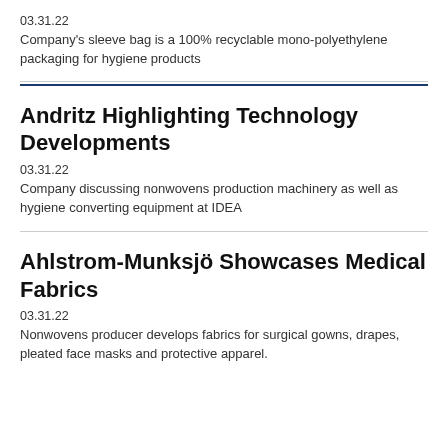03.31.22
Company's sleeve bag is a 100% recyclable mono-polyethylene packaging for hygiene products
Andritz Highlighting Technology Developments
03.31.22
Company discussing nonwovens production machinery as well as hygiene converting equipment at IDEA
Ahlstrom-Munksjö Showcases Medical Fabrics
03.31.22
Nonwovens producer develops fabrics for surgical gowns, drapes, pleated face masks and protective apparel.